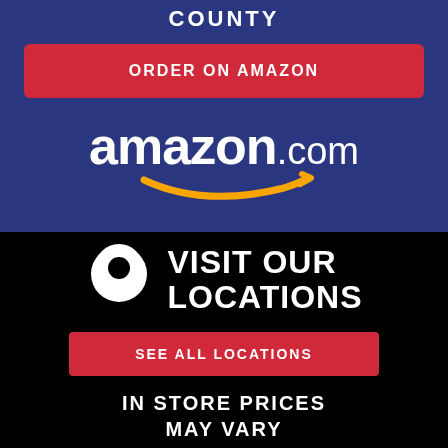COUNTY
ORDER ON AMAZON
[Figure (logo): Amazon.com logo with orange arrow smile beneath the text]
[Figure (infographic): White map pin / location marker icon]
VISIT OUR LOCATIONS
SEE ALL LOCATIONS
IN STORE PRICES MAY VARY